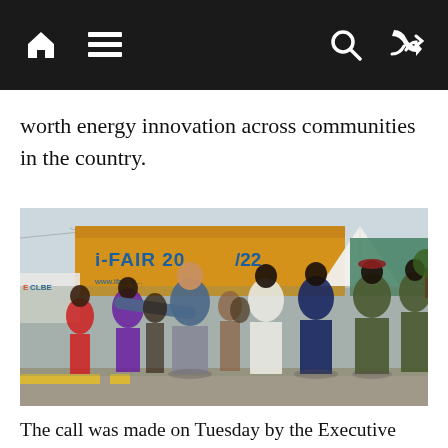[navigation bar with home, menu, search, and shuffle icons]
worth energy innovation across communities in the country.
[Figure (photo): Group of people walking at an outdoor event/fair. A banner reads 'i-FAIR 20.../22' on a yellow building. The group includes men in suits, military uniforms, and traditional attire, accompanied by others. An 'ECLBE' sign is visible on the left.]
The call was made on Tuesday by the Executive Director...